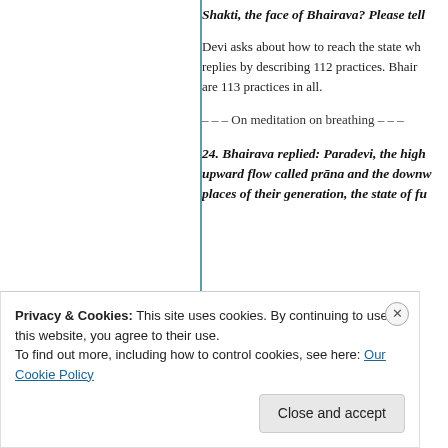Shakti, the face of Bhairava? Please tell
Devi asks about how to reach the state wh- replies by describing 112 practices. Bhair- are 113 practices in all.
– – – On meditation on breathing – – –
24. Bhairava replied: Paradevi, the high- upward flow called prāna and the downw- places of their generation, the state of fu-
Privacy & Cookies: This site uses cookies. By continuing to use this website, you agree to their use.
To find out more, including how to control cookies, see here: Our Cookie Policy